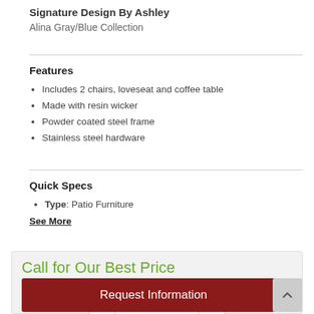Signature Design By Ashley
Alina Gray/Blue Collection
Features
Includes 2 chairs, loveseat and coffee table
Made with resin wicker
Powder coated steel frame
Stainless steel hardware
Quick Specs
Type: Patio Furniture
See More
Call for Our Best Price
1
Request Information